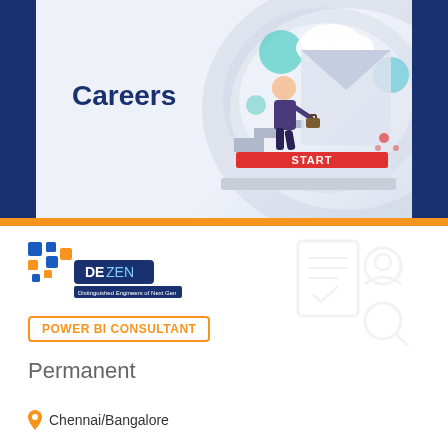[Figure (illustration): Careers banner with a person in a suit climbing steps toward a large arrow/envelope with START banner, decorative blue circles and clouds on light grey background with dark navy side panels]
Careers
[Figure (logo): DEzen logo with blue and orange squares/blocks, text reads DE ZEN, Distinguished Engineers of Next Gen]
POWER BI CONSULTANT
Permanent
Chennai/Bangalore